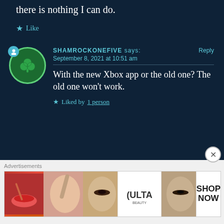there is nothing I can do.
★ Like
SHAMROCKONEFIVE says:
September 8, 2021 at 10:51 am
With the new Xbox app or the old one? The old one won't work.
★ Liked by 1 person
Advertisements
[Figure (photo): Ulta Beauty advertisement banner with makeup imagery and SHOP NOW call to action]